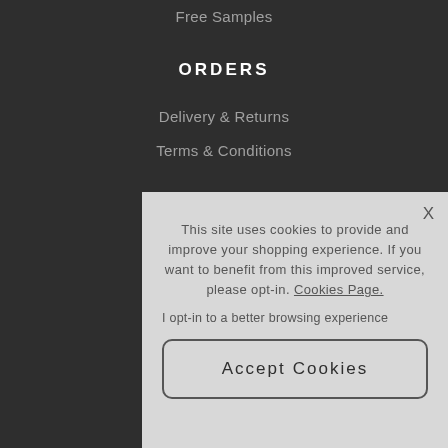Free Samples
ORDERS
Delivery & Returns
Terms & Conditions
This site uses cookies to provide and improve your shopping experience. If you want to benefit from this improved service, please opt-in. Cookies Page.
I opt-in to a better browsing experience
Accept Cookies